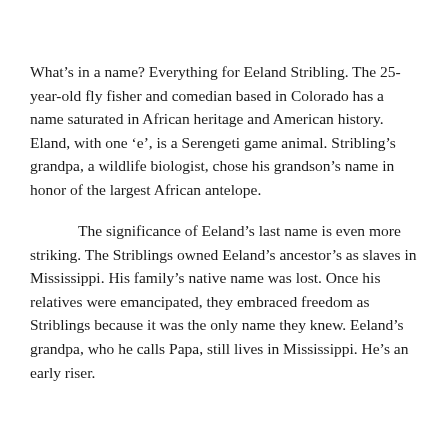What's in a name? Everything for Eeland Stribling. The 25-year-old fly fisher and comedian based in Colorado has a name saturated in African heritage and American history. Eland, with one 'e', is a Serengeti game animal. Stribling's grandpa, a wildlife biologist, chose his grandson's name in honor of the largest African antelope.
The significance of Eeland's last name is even more striking. The Striblings owned Eeland's ancestor's as slaves in Mississippi. His family's native name was lost. Once his relatives were emancipated, they embraced freedom as Striblings because it was the only name they knew. Eeland's grandpa, who he calls Papa, still lives in Mississippi. He's an early riser.